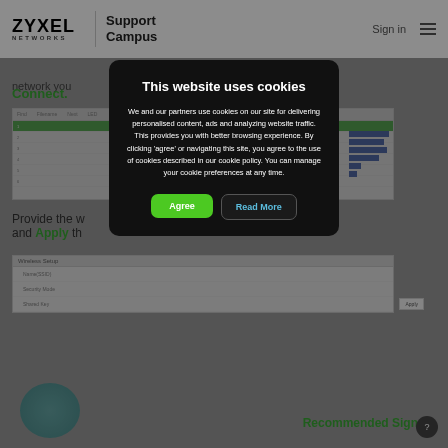[Figure (screenshot): Zyxel Networks Support Campus website header with logo, navigation, and partially visible page content showing network configuration tables and wireless setup forms, dimmed behind a cookie consent modal overlay]
This website uses cookies
We and our partners use cookies on our site for delivering personalised content, ads and analyzing website traffic. This provides you with better browsing experience. By clicking 'agree' or navigating this site, you agree to the use of cookies described in our cookie policy. You can manage your cookie preferences at any time.
Agree
Read More